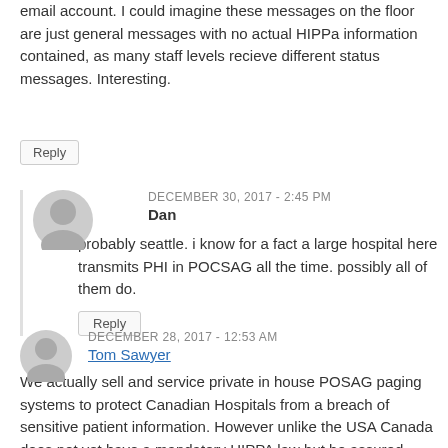email account. I could imagine these messages on the floor are just general messages with no actual HIPPa information contained, as many staff levels recieve different status messages. Interesting.
Reply
DECEMBER 30, 2017 - 2:45 PM
Dan
probably seattle. i know for a fact a large hospital here transmits PHI in POCSAG all the time. possibly all of them do.
Reply
DECEMBER 28, 2017 - 12:53 AM
Tom Sawyer
We actually sell and service private in house POSAG paging systems to protect Canadian Hospitals from a breach of sensitive patient information. However unlike the USA Canada does not yet have a mandatory HIPPA law but be assured sooner or later sensitive information will be harvested